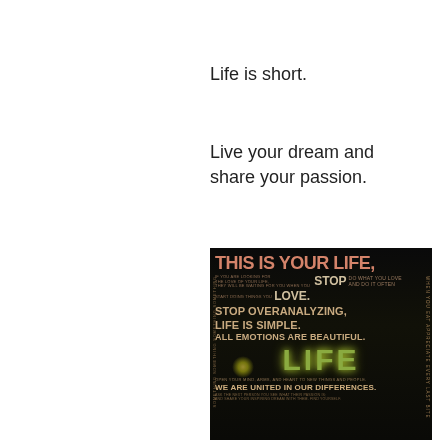Life is short.
Live your dream and share your passion.
[Figure (illustration): Dark poster with motivational text including 'THIS IS YOUR LIFE,' 'STOP', 'LOVE.', 'STOP OVERANALYZING,', 'LIFE IS SIMPLE.', 'ALL EMOTIONS ARE BEAUTIFUL.', 'LIFE', 'WE ARE UNITED IN OUR DIFFERENCES.' on a dark background with green glowing 'LIFE' text.]